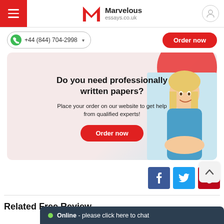Marvelous essays.co.uk
+44 (844) 704-2998
Order now
[Figure (illustration): Banner with a smiling blonde woman sitting at a desk, with text: Do you need professionally written papers? Place your order on our website to get help from qualified experts! Order now button.]
Do you need professionally written papers? Place your order on our website to get help from qualified experts!
[Figure (other): Three social media buttons: Facebook (dark blue), Twitter (light blue), Pinterest (red)]
Related Free Review
Online - please click here to chat